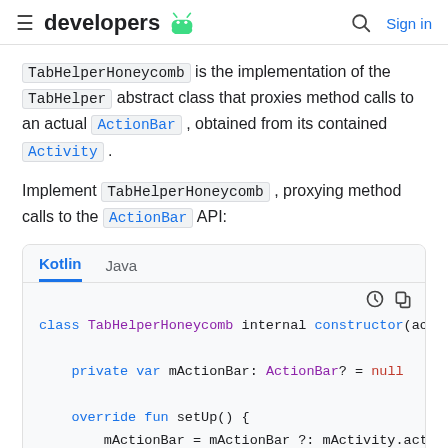developers [android icon] Sign in
TabHelperHoneycomb is the implementation of the TabHelper abstract class that proxies method calls to an actual ActionBar , obtained from its contained Activity .
Implement TabHelperHoneycomb , proxying method calls to the ActionBar API:
[Figure (screenshot): Code block with Kotlin/Java tabs showing class TabHelperHoneycomb code snippet]
class TabHelperHoneycomb internal constructor(act
    private var mActionBar: ActionBar? = null
    override fun setUp() {
        mActionBar = mActionBar ?: mActivity.acti